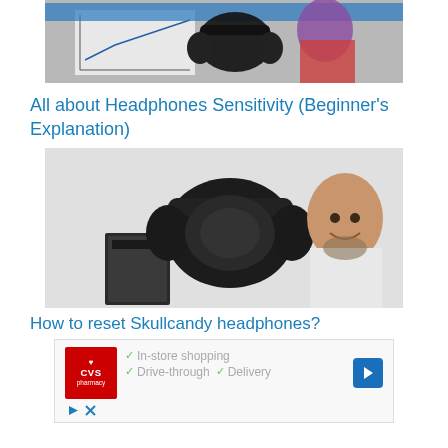[Figure (photo): Woman with purple hair wearing black headphones, with a chart visible in the background]
All about Headphones Sensitivity (Beginner's Explanation)
[Figure (photo): Smiling bearded man next to black over-ear Skullcandy headphones with box packaging]
How to reset Skullcandy headphones?
[Figure (other): CVS Pharmacy advertisement with checkmarks for In-store shopping, Drive-through, and Delivery services, with navigation arrow icon]